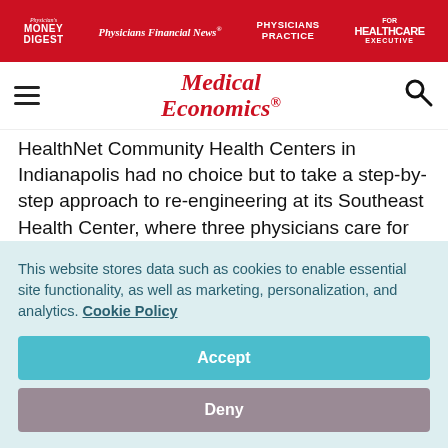Physician's Money Digest | Physicians Financial News | Physicians Practice | Healthcare Executive
[Figure (logo): Medical Economics logo with hamburger menu and search icon]
HealthNet Community Health Centers in Indianapolis had no choice but to take a step-by-step approach to re-engineering at its Southeast Health Center, where three physicians care for 20,000 patients. "The center was frantically trying to get through the day, because patient flow was so chaotic," observes Pat Pickering, who coached Southeast's redesign effort. "We just wanted to clean up the flow so that the
This website stores data such as cookies to enable essential site functionality, as well as marketing, personalization, and analytics. Cookie Policy
Accept
Deny